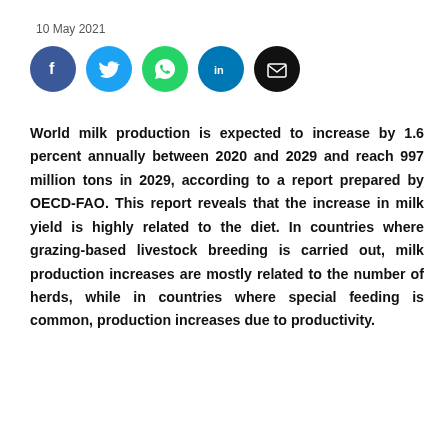10 May 2021
[Figure (other): Social media share icons: Facebook (blue circle with f), Twitter (light blue circle with bird), WhatsApp (green circle with phone), LinkedIn (dark blue circle with 'in'), Email (black circle with envelope)]
World milk production is expected to increase by 1.6 percent annually between 2020 and 2029 and reach 997 million tons in 2029, according to a report prepared by OECD-FAO. This report reveals that the increase in milk yield is highly related to the diet. In countries where grazing-based livestock breeding is carried out, milk production increases are mostly related to the number of herds, while in countries where special feeding is common, production increases due to productivity.